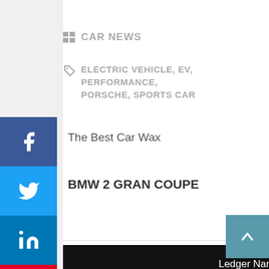CAR NEWS
ELECTRIC VEHICLE, EV, PERFORMANCE, PORSCHE, SPORTS CAR
The Best Car Wax
BMW 2 GRAN COUPE
[Figure (screenshot): Social media share sidebar with Facebook, Twitter, LinkedIn, Pinterest, Reddit buttons]
[Figure (advertisement): Ledger Nano S Plus advertisement. Text: 'THE SECURE GATEWAY TO YOUR CRYPTO NEEDS'. Orange 'Buy now' button. Shows device and phone with crypto dashboard.]